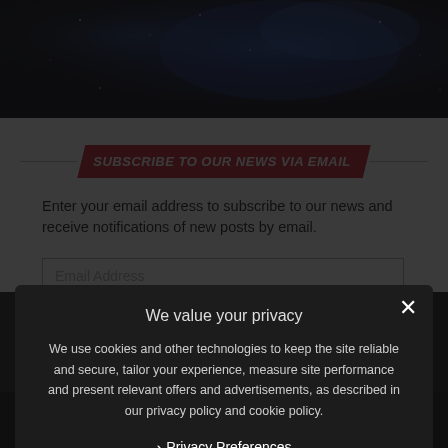[Figure (photo): Dark space/galaxy background image with blue nebula effect]
SUBSCRIBE TO OUR NEWS VIA EMAIL
Enter your email address to subscribe to our news and receive notifications of new posts by email.
[Figure (screenshot): Email subscription form with Email Address input field and Subscribe button]
[Figure (screenshot): Dark news block in background showing a news item with GiG logo thumbnail and text about casino operator Luckiest.com]
We value your privacy
We use cookies and other technologies to keep the site reliable and secure, tailor your experience, measure site performance and present relevant offers and advertisements, as described in our privacy policy and cookie policy.
Privacy Preferences
I Agree